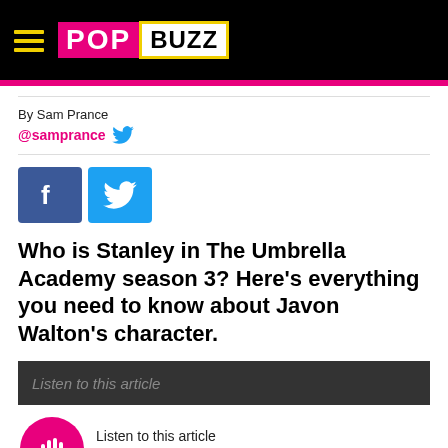POPBUZZ
By Sam Prance
@samprance
[Figure (infographic): Facebook and Twitter social share buttons]
Who is Stanley in The Umbrella Academy season 3? Here's everything you need to know about Javon Walton's character.
[Figure (infographic): Listen to this article audio player with pink play button and waveform]